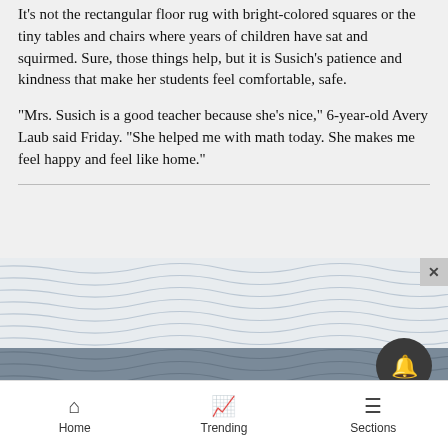It's not the rectangular floor rug with bright-colored squares or the tiny tables and chairs where years of children have sat and squirmed. Sure, those things help, but it is Susich's patience and kindness that make her students feel comfortable, safe.
“Mrs. Susich is a good teacher because she’s nice,” 6-year-old Avery Laub said Friday. “She helped me with math today. She makes me feel happy and feel like home.”
[Figure (illustration): Decorative advertisement image with diagonal wavy lines pattern in light blue/grey on white background, transitioning to a darker grey wavy-line pattern at bottom. Notification bell button overlay and close button visible.]